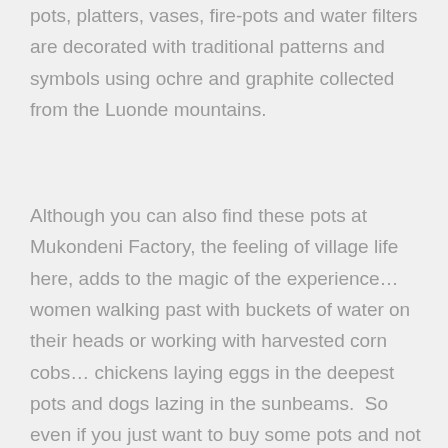pots, platters, vases, fire-pots and water filters are decorated with traditional patterns and symbols using ochre and graphite collected from the Luonde mountains.
Although you can also find these pots at Mukondeni Factory, the feeling of village life here, adds to the magic of the experience… women walking past with buckets of water on their heads or working with harvested corn cobs… chickens laying eggs in the deepest pots and dogs lazing in the sunbeams.  So even if you just want to buy some pots and not take the time to